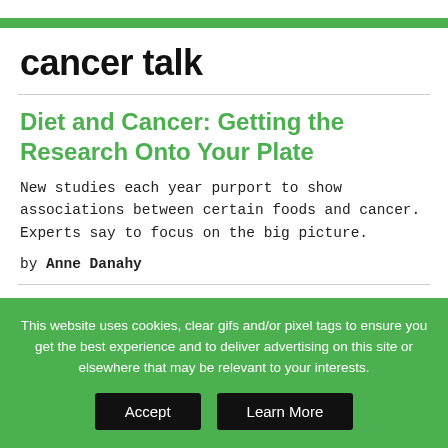cancer talk
Diet and Cancer: Getting the Research Onto Your Plate
New studies each year purport to show associations between certain foods and cancer. Experts say to focus on the big picture.
by Anne Danahy
How Common Are Treatment
This website uses cookies, clear gifs and/or pixel tags to ensure you get the best experience and to deliver advertising on this site or elsewhere that may be relevant to your interests.